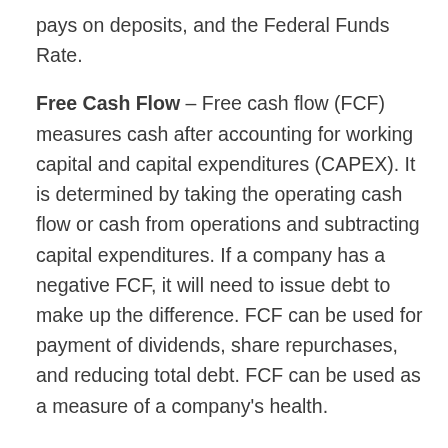pays on deposits, and the Federal Funds Rate.
Free Cash Flow – Free cash flow (FCF) measures cash after accounting for working capital and capital expenditures (CAPEX). It is determined by taking the operating cash flow or cash from operations and subtracting capital expenditures. If a company has a negative FCF, it will need to issue debt to make up the difference. FCF can be used for payment of dividends, share repurchases, and reducing total debt. FCF can be used as a measure of a company's health.